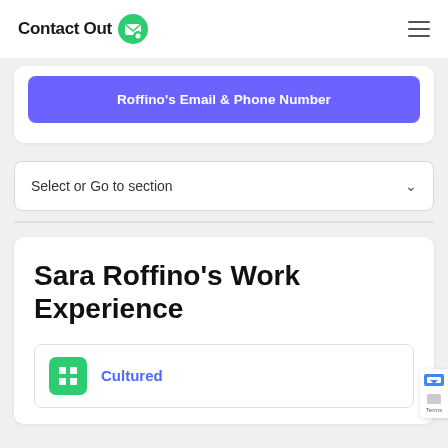ContactOut
Roffino's Email & Phone Number
Select or Go to section
Sara Roffino's Work Experience
Cultured